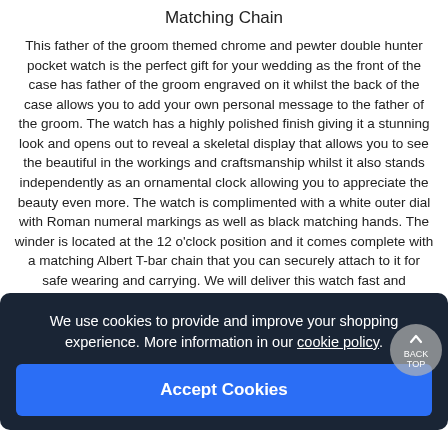Matching Chain
This father of the groom themed chrome and pewter double hunter pocket watch is the perfect gift for your wedding as the front of the case has father of the groom engraved on it whilst the back of the case allows you to add your own personal message to the father of the groom. The watch has a highly polished finish giving it a stunning look and opens out to reveal a skeletal display that allows you to see the beautiful in the workings and craftsmanship whilst it also stands independently as an ornamental clock allowing you to appreciate the beauty even more. The watch is complimented with a white outer dial with Roman numeral markings as well as black matching hands. The winder is located at the 12 o'clock position and it comes complete with a matching Albert T-bar chain that you can securely attach to it for safe wearing and carrying. We will deliver this watch fast and
We use cookies to provide and improve your shopping experience. More information in our cookie policy.
Accept Cookies